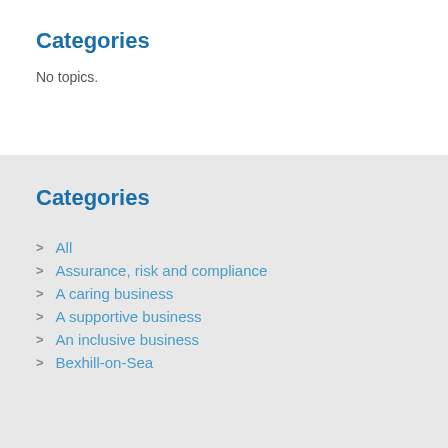Categories
No topics.
Categories
All
Assurance, risk and compliance
A caring business
A supportive business
An inclusive business
Bexhill-on-Sea